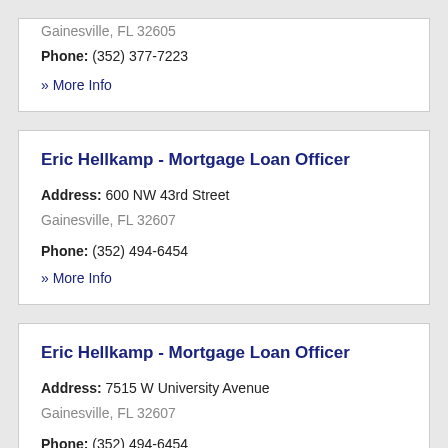Gainesville, FL 32605
Phone: (352) 377-7223
» More Info
Eric Hellkamp - Mortgage Loan Officer
Address: 600 NW 43rd Street
Gainesville, FL 32607
Phone: (352) 494-6454
» More Info
Eric Hellkamp - Mortgage Loan Officer
Address: 7515 W University Avenue
Gainesville, FL 32607
Phone: (352) 494-6454